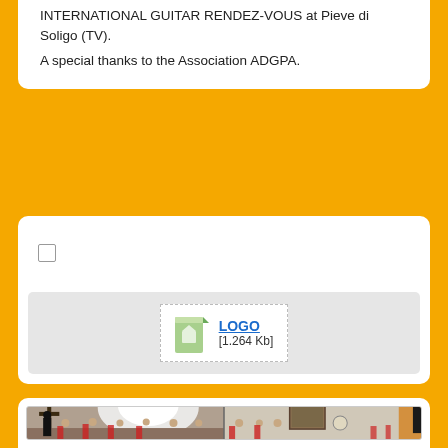INTERNATIONAL GUITAR RENDEZ-VOUS at Pieve di Soligo (TV).
A special thanks to the Association ADGPA.
[Figure (other): A checkbox (unchecked square) element in a white card panel]
[Figure (other): A file attachment icon for LOGO file of 1.264 Kb, shown with a green document icon and dashed border box]
[Figure (photo): A photo of a youth guitar ensemble/orchestra performing in what appears to be a church or hall. A conductor stands at left, students with guitars sit in rows. Two panel composite image showing interior with religious artwork on wall.]